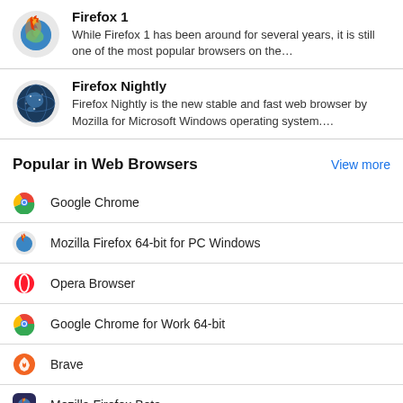Firefox 1 — While Firefox 1 has been around for several years, it is still one of the most popular browsers on the…
Firefox Nightly — Firefox Nightly is the new stable and fast web browser by Mozilla for Microsoft Windows operating system….
Popular in Web Browsers
View more
Google Chrome
Mozilla Firefox 64-bit for PC Windows
Opera Browser
Google Chrome for Work 64-bit
Brave
Mozilla Firefox Beta